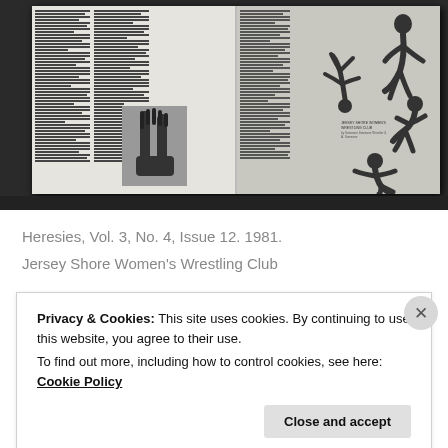[Figure (photo): A scanned open magazine spread showing multiple columns of small text, a black-and-white photo of hands raised, and black-and-white photographs of women wrestling on the right page. Dark border/shadow around the spread.]
Heresies, Vol. 3, No. 4, Issue 12. 1981.
Jersey Shore Women's Wrestling Club
Privacy & Cookies: This site uses cookies. By continuing to use this website, you agree to their use.
To find out more, including how to control cookies, see here: Cookie Policy
Close and accept